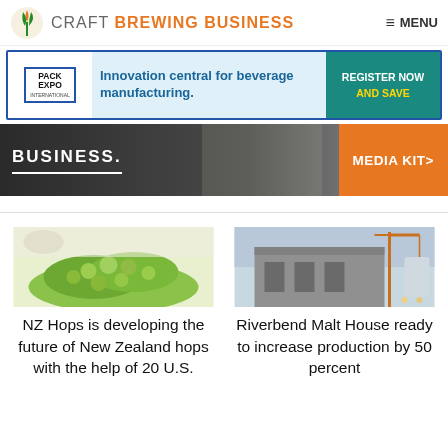CRAFT BREWING BUSINESS  MENU
[Figure (screenshot): Pack Expo International advertisement: Innovation central for beverage manufacturing. Register Now and Save.]
[Figure (screenshot): Dark brewery background banner with BUSINESS. text and MEDIA KIT> orange button]
[Figure (photo): Green hops pile on a white surface]
NZ Hops is developing the future of New Zealand hops with the help of 20 U.S.
[Figure (photo): Riverbend Malt House building exterior with crane]
Riverbend Malt House ready to increase production by 50 percent